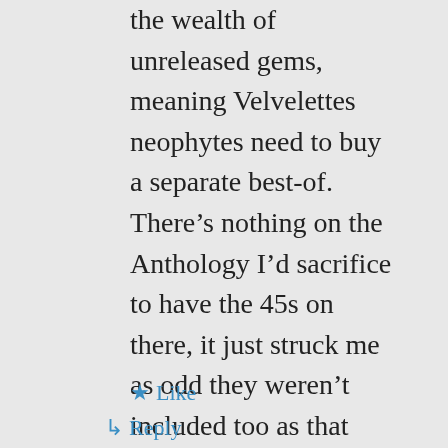the wealth of unreleased gems, meaning Velvelettes neophytes need to buy a separate best-of. There's nothing on the Anthology I'd sacrifice to have the 45s on there, it just struck me as odd they weren't included too as that might have helped flog more copies, is all.
★ Like
↳ Reply